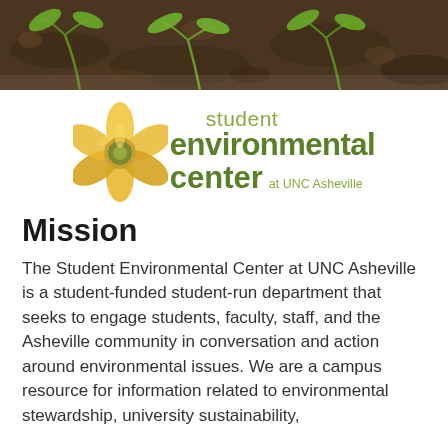[Figure (photo): Close-up photo of dark soil with small green plant seedlings growing, banner across top of page]
[Figure (logo): Student Environmental Center at UNC Asheville logo with yellow flower illustration and green text]
Mission
The Student Environmental Center at UNC Asheville is a student-funded student-run department that seeks to engage students, faculty, staff, and the Asheville community in conversation and action around environmental issues. We are a campus resource for information related to environmental stewardship, university sustainability,